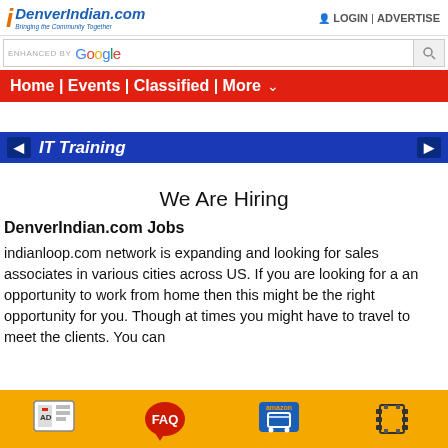DenverIndian.com — Bringing the Community Together | LOGIN | ADVERTISE
[Figure (screenshot): Google enhanced search bar]
Home | Events | Classified | More
IT Training
We Are Hiring
DenverIndian.com Jobs
indianloop.com network is expanding and looking for sales associates in various cities across US. If you are looking for a an opportunity to work from home then this might be the right opportunity for you. Though at times you might have to travel to meet the clients. You can
[Figure (infographic): Bottom toolbar with AD, FAQ, Amazon shopping cart, and film/video icon on golden yellow background]